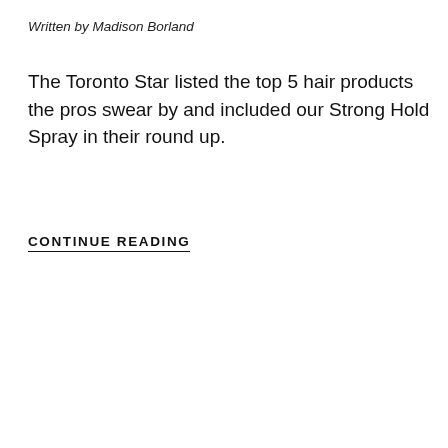Written by Madison Borland
The Toronto Star listed the top 5 hair products the pros swear by and included our Strong Hold Spray in their round up.
CONTINUE READING